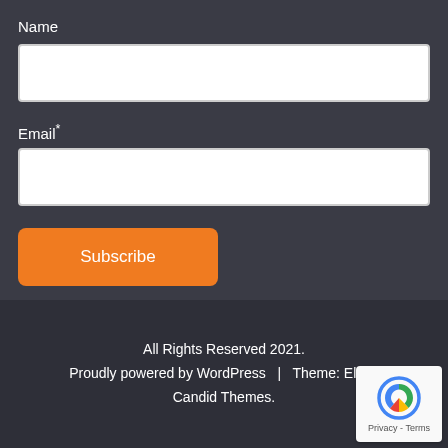Name
Email*
Subscribe
All Rights Reserved 2021.
Proudly powered by WordPress  |  Theme: Elf by Candid Themes.